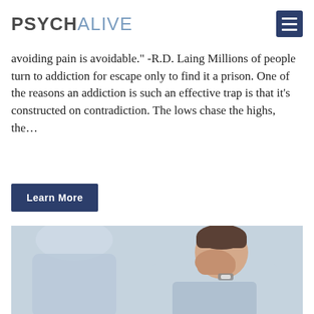PSYCHALIVE
avoiding pain is avoidable. -R.D. Laing Millions of people turn to addiction for escape only to find it a prison. One of the reasons an addiction is such an effective trap is that it's constructed on contradiction. The lows chase the highs, the…
Learn More
[Figure (photo): A man in a light blue shirt covering his face with both hands in distress, sitting across from another person (therapist), in a clinical/counseling setting with soft blue-grey background.]